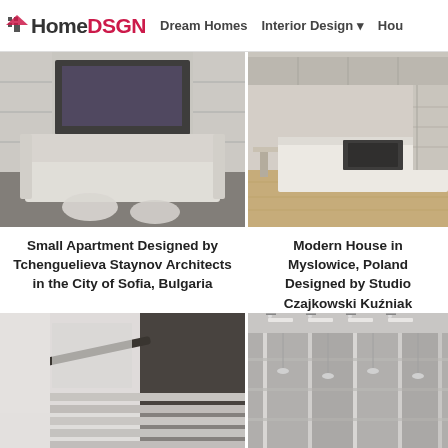HomeDSGN | Dream Homes | Interior Design
[Figure (photo): Interior photo of a modern living room with white sofa, chairs, and a TV wall unit]
[Figure (photo): Interior photo of a modern kitchen with white island countertop and wooden floors]
Small Apartment Designed by Tchenguelieva Staynov Architects in the City of Sofia, Bulgaria
Modern House in Myslowice, Poland Designed by Studio Czajkowski Kuźniak Architekci
[Figure (photo): Interior photo of a modern staircase with dark handrail and white walls]
[Figure (photo): Interior photo of a modern room with glass panels and ceiling lights]